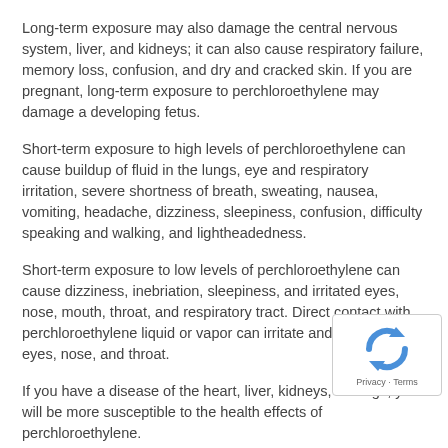Long-term exposure may also damage the central nervous system, liver, and kidneys; it can also cause respiratory failure, memory loss, confusion, and dry and cracked skin. If you are pregnant, long-term exposure to perchloroethylene may damage a developing fetus.
Short-term exposure to high levels of perchloroethylene can cause buildup of fluid in the lungs, eye and respiratory irritation, severe shortness of breath, sweating, nausea, vomiting, headache, dizziness, sleepiness, confusion, difficulty speaking and walking, and lightheadedness.
Short-term exposure to low levels of perchloroethylene can cause dizziness, inebriation, sleepiness, and irritated eyes, nose, mouth, throat, and respiratory tract. Direct contact with perchloroethylene liquid or vapor can irritate and burn the skin, eyes, nose, and throat.
If you have a disease of the heart, liver, kidneys, or lungs, you will be more susceptible to the health effects of perchloroethylene.
If you think your health has been affected by exposure to perchloroethylene, contact your health care professional.